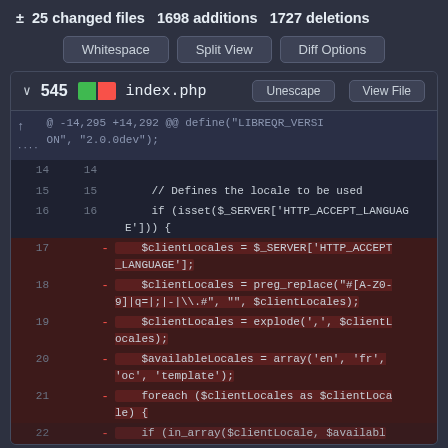± 25 changed files  1698 additions  1727 deletions
Whitespace  Split View  Diff Options
∨ 545  index.php  Unescape  View File
[Figure (screenshot): Code diff showing index.php with hunk @ -14,295 +14,292 @@ define("LIBREQR_VERSION", "2.0.0dev"); followed by lines 14-22 of PHP code. Lines 17-21 are deleted (red), showing $clientLocales assignments using $_SERVER['HTTP_ACCEPT_LANGUAGE'], preg_replace, explode, $availableLocales array, and foreach loop.]